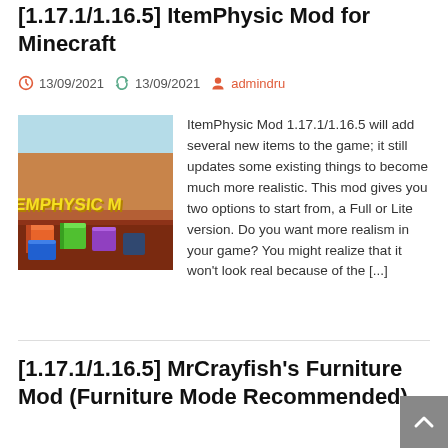[1.17.1/1.16.5] ItemPhysic Mod for Minecraft
13/09/2021  13/09/2021  admindru
[Figure (photo): Screenshot of ItemPhysic Minecraft mod showing colorful 3D blocks on a red-brown surface with yellow text overlay reading 'EMPHYSIC M']
ItemPhysic Mod 1.17.1/1.16.5 will add several new items to the game; it still updates some existing things to become much more realistic. This mod gives you two options to start from, a Full or Lite version. Do you want more realism in your game? You might realize that it won't look real because of the [...]
[1.17.1/1.16.5] MrCrayfish's Furniture Mod (Furniture Mode Recommended)